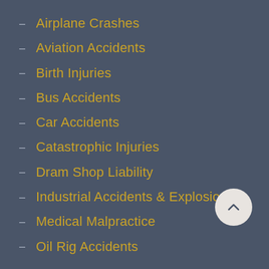Airplane Crashes
Aviation Accidents
Birth Injuries
Bus Accidents
Car Accidents
Catastrophic Injuries
Dram Shop Liability
Industrial Accidents & Explosions
Medical Malpractice
Oil Rig Accidents